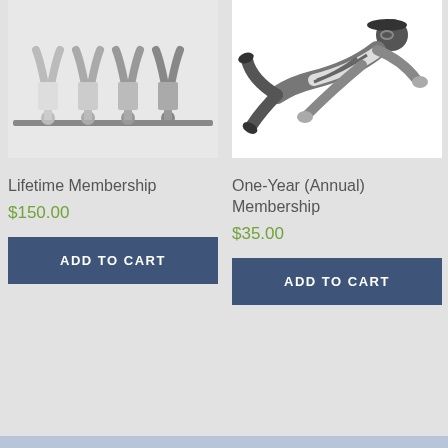[Figure (photo): Black and white photo of multiple acrobats doing handstands on a bar, repeated exposure or multiple people in a row]
Lifetime Membership
$150.00
ADD TO CART
[Figure (photo): Black and white photo of a person leaping or diving in the air, wearing a cap and suspenders]
One-Year (Annual) Membership
$35.00
ADD TO CART